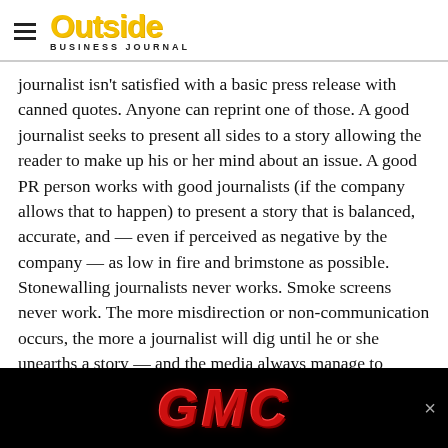Outside Business Journal
journalist isn't satisfied with a basic press release with canned quotes. Anyone can reprint one of those. A good journalist seeks to present all sides to a story allowing the reader to make up his or her mind about an issue. A good PR person works with good journalists (if the company allows that to happen) to present a story that is balanced, accurate, and — even if perceived as negative by the company — as low in fire and brimstone as possible. Stonewalling journalists never works. Smoke screens never work. The more misdirection or non-communication occurs, the more a journalist will dig until he or she unearths a story — and the media always manage to unearth a story. Be sure it is the story you would most like to see in print. Be honest and open (to a point — no need to reveal family secrets after all) and the news, if not super positive
[Figure (logo): GMC advertisement banner with red GMC logo on black background]